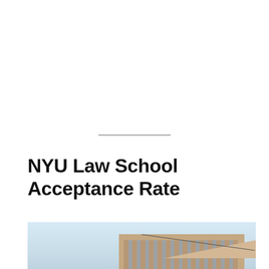NYU Law School Acceptance Rate
[Figure (photo): Photograph of NYU Law School building exterior, a tall brick building with rows of windows, with a light blue sky background and a wire/cable visible across the top. The lower portion shows a reflection or watermark overlay of the building.]